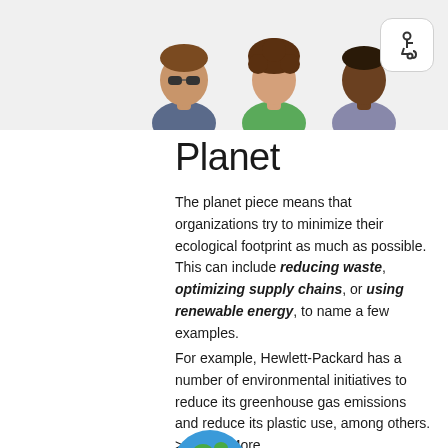[Figure (illustration): Three avatar illustrations of people shown from shoulders up: person with sunglasses, person with curly hair in green top, person with dark skin in grey top. Positioned at top of page on light grey background.]
[Figure (illustration): Accessibility icon button — wheelchair symbol in a rounded square, positioned top right corner.]
Planet
The planet piece means that organizations try to minimize their ecological footprint as much as possible. This can include reducing waste, optimizing supply chains, or using renewable energy, to name a few examples.
For example, Hewlett-Packard has a number of environmental initiatives to reduce its greenhouse gas emissions and reduce its plastic use, among others. >>Read More
[Figure (illustration): Partial globe illustration visible at bottom of page, showing blue and green earth.]